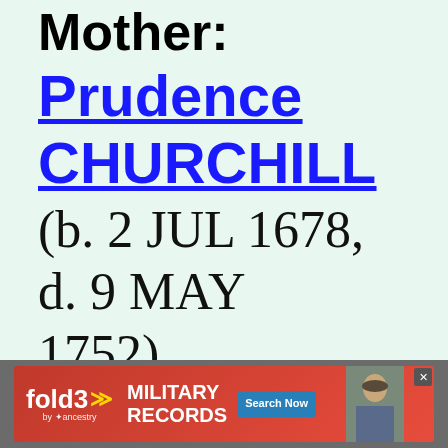Mother: Prudence CHURCHILL (b. 2 JUL 1678, d. 9 MAY 1752)
[Figure (screenshot): Advertisement banner for fold3 by Ancestry - Military Records, Search Now]